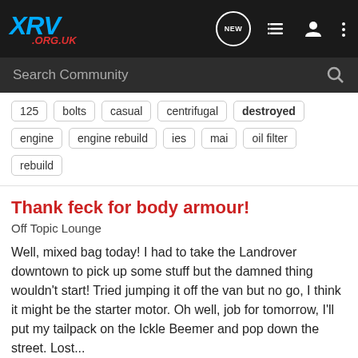XRV .ORG.UK
Search Community
125
bolts
casual
centrifugal
destroyed
engine
engine rebuild
ies
mai
oil filter
rebuild
Thank feck for body armour!
Off Topic Lounge
Well, mixed bag today! I had to take the Landrover downtown to pick up some stuff but the damned thing wouldn't start! Tried jumping it off the van but no go, I think it might be the starter motor. Oh well, job for tomorrow, I'll put my tailpack on the Ickle Beemer and pop down the street. Lost...
26 comments  3K views
africajim · Nov 20, 2010